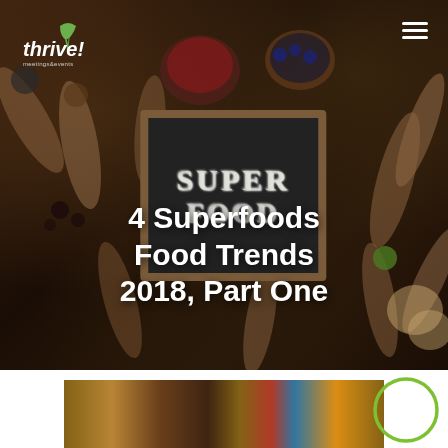[Figure (photo): Hero banner image of various superfoods (seeds, berries, nuts, spices) arranged on wooden spoons on a dark wooden surface, with a chalkboard sign reading 'SUPER FOOD' in the center]
[Figure (logo): Thrive! meetings & events logo with green leaf icon in top left of the hero image]
4 Superfoods Food Trends 2018, Part One
[Figure (photo): Thumbnail image at the bottom of the page showing superfoods spread on a surface]